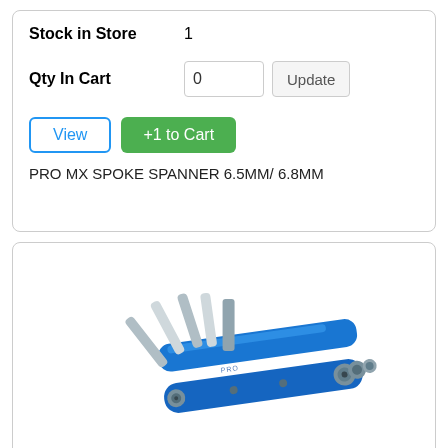Stock in Store   1
Qty In Cart   0   Update
View   +1 to Cart
PRO MX SPOKE SPANNER 6.5MM/ 6.8MM
[Figure (photo): A blue multi-tool with silver Allen keys and bits fanned out, photographed on a white background.]